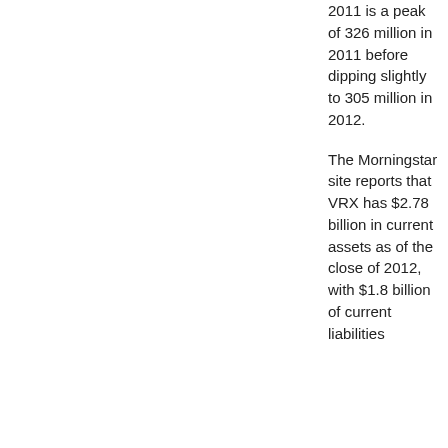2011 is a peak of 326 million in 2011 before dipping slightly to 305 million in 2012.
The Morningstar site reports that VRX has $2.78 billion in current assets as of the close of 2012, with $1.8 billion of current liabilities